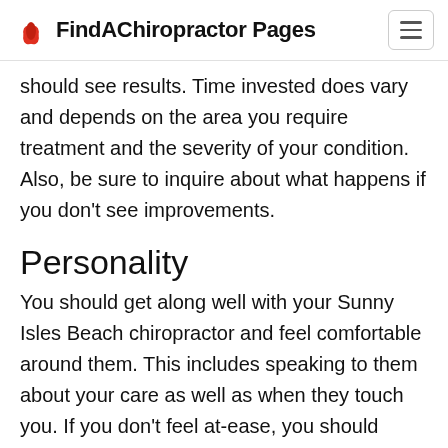FindAChiropractor Pages
should see results. Time invested does vary and depends on the area you require treatment and the severity of your condition. Also, be sure to inquire about what happens if you don't see improvements.
Personality
You should get along well with your Sunny Isles Beach chiropractor and feel comfortable around them. This includes speaking to them about your care as well as when they touch you. If you don't feel at-ease, you should consider finding a new chiropractor.